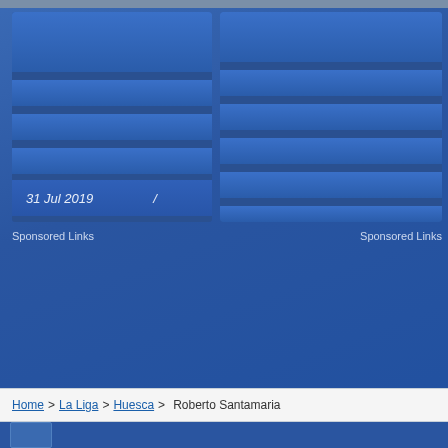[Figure (screenshot): Left ad card with blue stripes and date '31 Jul 2019 /']
[Figure (screenshot): Right ad card with blue horizontal stripes]
Sponsored Links
Sponsored Links
Home > La Liga > Huesca > Roberto Santamaria
[Figure (logo): Club logo at bottom left]